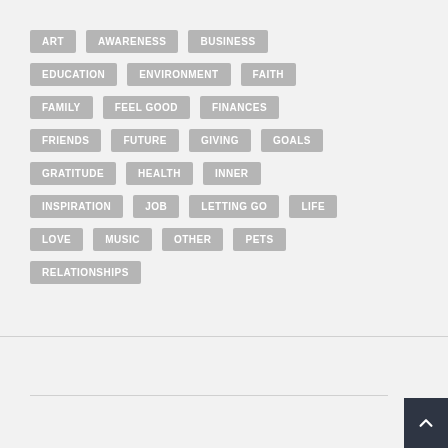ART
AWARENESS
BUSINESS
EDUCATION
ENVIRONMENT
FAITH
FAMILY
FEEL GOOD
FINANCES
FRIENDS
FUTURE
GIVING
GOALS
GRATITUDE
HEALTH
INNER
INSPIRATION
JOB
LETTING GO
LIFE
LOVE
MUSIC
OTHER
PETS
RELATIONSHIPS